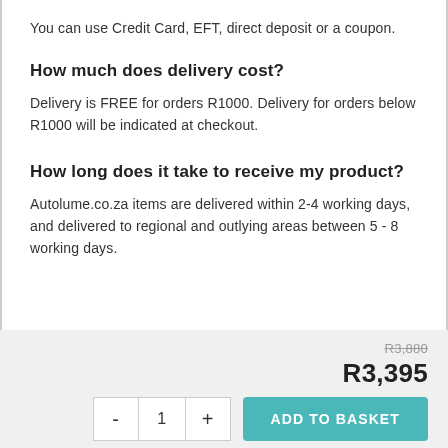You can use Credit Card, EFT, direct deposit or a coupon.
How much does delivery cost?
Delivery is FREE for orders R1000. Delivery for orders below R1000 will be indicated at checkout.
How long does it take to receive my product?
Autolume.co.za items are delivered within 2-4 working days, and delivered to regional and outlying areas between 5 - 8 working days.
R3,880
R3,395
- 1 + ADD TO BASKET